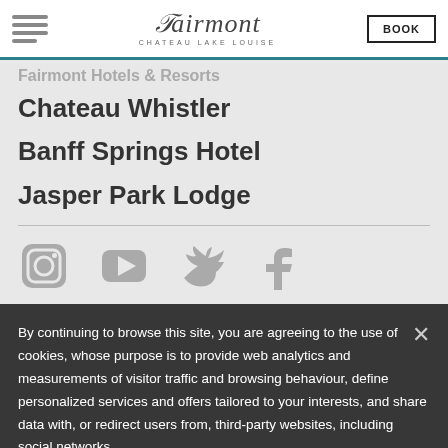[Figure (logo): Fairmont Chateau Lake Louise script logo with hamburger menu icon and BOOK button]
Chateau Whistler
Banff Springs Hotel
Jasper Park Lodge
[Figure (illustration): Social media icons: Instagram, YouTube, Twitter, Facebook]
By continuing to browse this site, you are agreeing to the use of cookies, whose purpose is to provide web analytics and measurements of visitor traffic and browsing behaviour, define personalized services and offers tailored to your interests, and share data with, or redirect users from, third-party websites, including social networks.